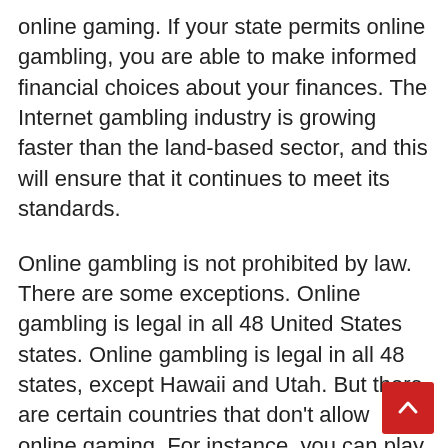online gaming. If your state permits online gambling, you are able to make informed financial choices about your finances. The Internet gambling industry is growing faster than the land-based sector, and this will ensure that it continues to meet its standards.
Online gambling is not prohibited by law. There are some exceptions. Online gambling is legal in all 48 United States states. Online gambling is legal in all 48 states, except Hawaii and Utah. But there are certain countries that don’t allow online gaming. For instance, you can play poker in an online casino in the UK without paying a dime. The laws also require that the gambling website be controlled.